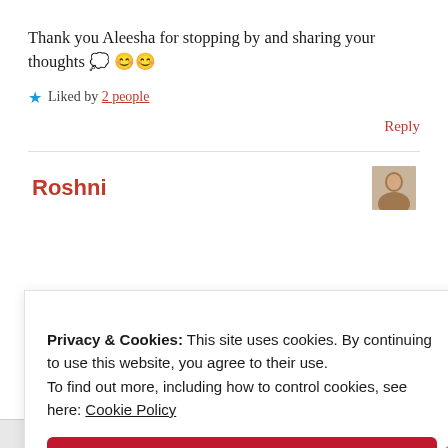Thank you Aleesha for stopping by and sharing your thoughts 💭 😊😊
★ Liked by 2 people
Reply
Roshni
Privacy & Cookies: This site uses cookies. By continuing to use this website, you agree to their use.
To find out more, including how to control cookies, see here: Cookie Policy
Close and accept